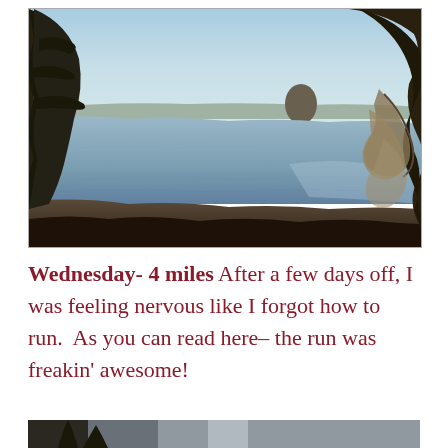[Figure (photo): Outdoor coastal landscape photo showing a calm bay or estuary with water, a large rocky formation (Morro Rock) in the background, cypress trees on both sides framing the scene, sandy/muddy shore in the foreground, taken at dusk or dawn with a pale blue sky.]
Wednesday- 4 miles After a few days off, I was feeling nervous like I forgot how to run.  As you can read here– the run was freakin' awesome!
[Figure (photo): Partially visible outdoor photo at the bottom of the page, showing a grey sky and trees, cropped.]